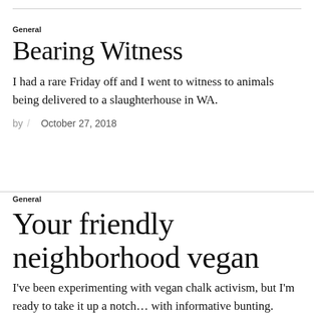General
Bearing Witness
I had a rare Friday off and I went to witness to animals being delivered to a slaughterhouse in WA.
by / October 27, 2018
General
Your friendly neighborhood vegan
I've been experimenting with vegan chalk activism, but I'm ready to take it up a notch... with informative bunting. Weirdo neighbor